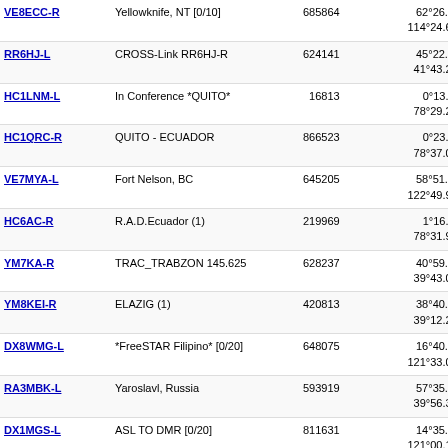| Callsign | Location | ID | Coordinates | Grid | Distance |
| --- | --- | --- | --- | --- | --- |
| VE8ECC-R | Yellowknife, NT [0/10] | 685864 | 62°26.82' N 114°24.60' W | DP22tk | 2360.8 |
| RR6HJ-L | CROSS-Link RR6HJ-R | 624141 | 45°22.60' N 41°43.26' W | GN95dj | 2381.5 |
| HC1LNM-L | In Conference *QUITO* | 16813 | 0°13.40' S 78°29.24' W | FI09ss | 2395.3 |
| HC1QRC-R | QUITO - ECUADOR | 866523 | 0°23.24' S 78°37.06' W | FI09qo | 2405.2 |
| VE7MYA-L | Fort Nelson, BC | 645205 | 58°51.00' N 122°49.98' W | CO88ou | 2452.0 |
| HC6AC-R | R.A.D.Ecuador (1) | 219969 | 1°16.15' S 78°31.93' W | FI08rr | 2466.4 |
| YM7KA-R | TRAC_TRABZON 145.625 | 628237 | 40°59.00' N 39°43.00' W | HN00dx | 2481.0 |
| YM8KEI-R | ELAZIG (1) | 420813 | 38°40.11' N 39°12.29' W | HM08jg | 2522.6 |
| DX8WMG-L | *FreeSTAR Filipino* [0/20] | 648075 | 16°40.88' N 121°33.00' W | CK96fq | 2583.8 |
| RA3MBK-L | Yaroslavl, Russia | 593919 | 57°35.45' N 39°56.38' W | HO07ao | 2629.0 |
| DX1MGS-L | ASL TO DMR [0/20] | 811631 | 14°35.63' N 121°00.12' W | CK94lo | 2638.8 |
| DX1ARM-L | Marikina City [0/20] | 58144 | 14°38.20' N 121°05.70' W | CK94kp | 2642.0 |
| DX1ARM-R | Marikina City [0/20] | 125838 | 14°38.20' N 121°05.70' W | CK94kp | 2642.0 |